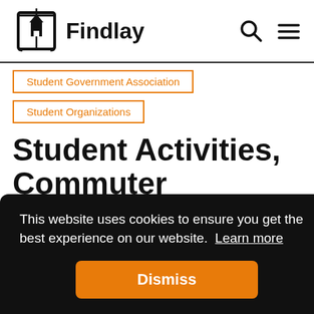Findlay
Student Government Association
Student Organizations
Student Activities, Commuter Services, Leadership Development
This website uses cookies to ensure you get the best experience on our website. Learn more
Dismiss